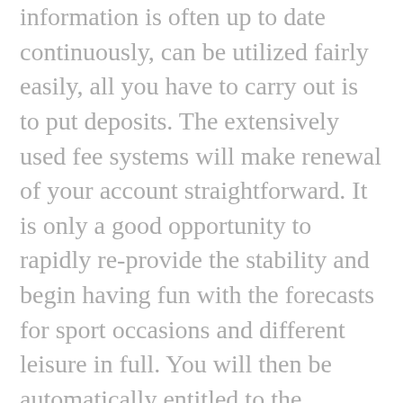information is often up to date continuously, can be utilized fairly easily, all you have to carry out is to put deposits. The extensively used fee systems will make renewal of your account straightforward. It is only a good opportunity to rapidly re-provide the stability and begin having fun with the forecasts for sport occasions and different leisure in full. You will then be automatically entitled to the 1XBET a hundred% bonus up to €/$130, which is a great way to start betting on the